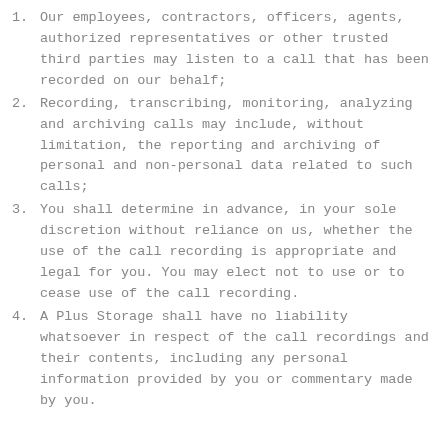1. Our employees, contractors, officers, agents, authorized representatives or other trusted third parties may listen to a call that has been recorded on our behalf;
2. Recording, transcribing, monitoring, analyzing and archiving calls may include, without limitation, the reporting and archiving of personal and non-personal data related to such calls;
3. You shall determine in advance, in your sole discretion without reliance on us, whether the use of the call recording is appropriate and legal for you. You may elect not to use or to cease use of the call recording.
4. A Plus Storage shall have no liability whatsoever in respect of the call recordings and their contents, including any personal information provided by you or commentary made by you.